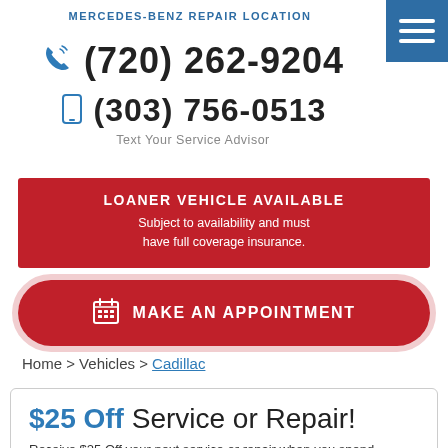MERCEDES-BENZ REPAIR LOCATION
(720) 262-9204
(303) 756-0513
Text Your Service Advisor
LOANER VEHICLE AVAILABLE
Subject to availability and must have full coverage insurance.
MAKE AN APPOINTMENT
Home > Vehicles > Cadillac
$25 Off Service or Repair!
Receive $25 Off your next service or repair when you spend